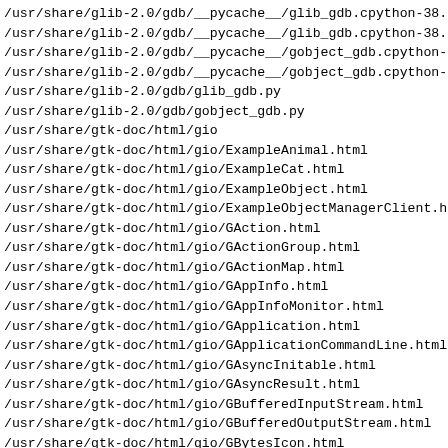/usr/share/glib-2.0/gdb/__pycache__/glib_gdb.cpython-38.
/usr/share/glib-2.0/gdb/__pycache__/glib_gdb.cpython-38.p
/usr/share/glib-2.0/gdb/__pycache__/gobject_gdb.cpython-3
/usr/share/glib-2.0/gdb/__pycache__/gobject_gdb.cpython-3
/usr/share/glib-2.0/gdb/glib_gdb.py
/usr/share/glib-2.0/gdb/gobject_gdb.py
/usr/share/gtk-doc/html/gio
/usr/share/gtk-doc/html/gio/ExampleAnimal.html
/usr/share/gtk-doc/html/gio/ExampleCat.html
/usr/share/gtk-doc/html/gio/ExampleObject.html
/usr/share/gtk-doc/html/gio/ExampleObjectManagerClient.ht
/usr/share/gtk-doc/html/gio/GAction.html
/usr/share/gtk-doc/html/gio/GActionGroup.html
/usr/share/gtk-doc/html/gio/GActionMap.html
/usr/share/gtk-doc/html/gio/GAppInfo.html
/usr/share/gtk-doc/html/gio/GAppInfoMonitor.html
/usr/share/gtk-doc/html/gio/GApplication.html
/usr/share/gtk-doc/html/gio/GApplicationCommandLine.html
/usr/share/gtk-doc/html/gio/GAsyncInitable.html
/usr/share/gtk-doc/html/gio/GAsyncResult.html
/usr/share/gtk-doc/html/gio/GBufferedInputStream.html
/usr/share/gtk-doc/html/gio/GBufferedOutputStream.html
/usr/share/gtk-doc/html/gio/GBytesIcon.html
/usr/share/gtk-doc/html/gio/GCancellable.html
/usr/share/gtk-doc/html/gio/GCharsetConverter.html
/usr/share/gtk-doc/html/gio/GConverter.html
/usr/share/gtk-doc/html/gio/GConverterInputStream.html
/usr/share/gtk-doc/html/gio/GConverterOutputStream.html
/usr/share/gtk-doc/html/gio/GCredentials.html
/usr/share/gtk-doc/html/gio/GDBusActionGroup.html